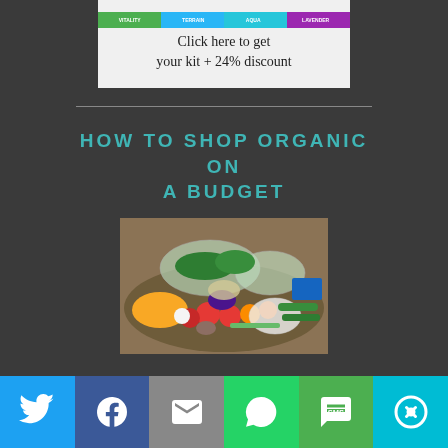[Figure (photo): Advertisement banner showing supplement jars with colorful labels and text 'Click here to get your kit + 24% discount']
HOW TO SHOP ORGANIC ON A BUDGET
[Figure (photo): Photo of organic groceries including fruits, vegetables and other produce in plastic bags laid out on a surface]
[Figure (infographic): Social media share bar with buttons for Twitter, Facebook, Email, WhatsApp, SMS, and More]